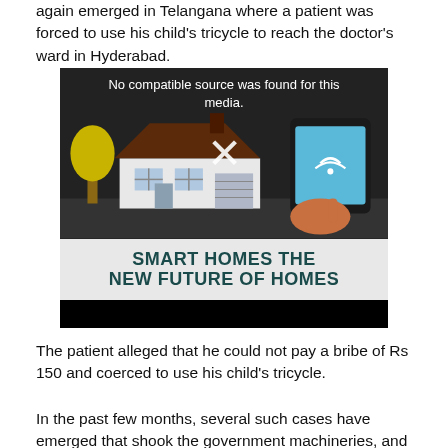again emerged in Telangana where a patient was forced to use his child's tricycle to reach the doctor's ward in Hyderabad.
[Figure (screenshot): A video/media embed placeholder showing an illustration of a smart home with a house graphic and a hand holding a tablet. An error message reads 'No compatible source was found for this media.' A white X mark overlays the image. Below the illustration is a banner reading 'SMART HOMES THE NEW FUTURE OF HOMES' in teal/dark green bold text on a light grey background, with a black bar at the bottom.]
The patient alleged that he could not pay a bribe of Rs 150 and coerced to use his child's tricycle.
In the past few months, several such cases have emerged that shook the government machineries, and pointed out their